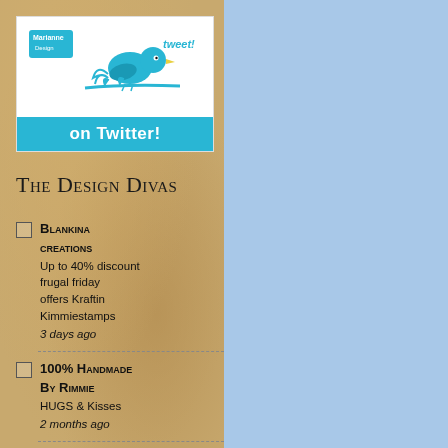[Figure (logo): Marianne Design Twitter logo badge — white box with teal bird on branch with 'tweet!' text and 'on Twitter!' banner in teal]
The Design Divas
Blankina creations
Up to 40% discount frugal friday offers Kraftin Kimmiestamps
3 days ago
100% Handmade By Rimmie
HUGS & Kisses
2 months ago
La Città di Carta
Bianco natale in